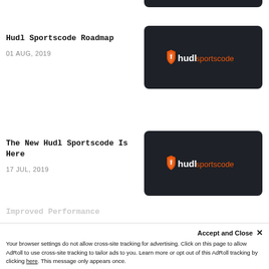[Figure (screenshot): Partial dark card at top, cropped]
Hudl Sportscode Roadmap
01 AUG, 2019
[Figure (logo): Hudl Sportscode logo on dark card background]
The New Hudl Sportscode Is Here
17 JUL, 2019
[Figure (logo): Hudl Sportscode logo on dark card background]
Improved Performance
Accept and Close ✕
Your browser settings do not allow cross-site tracking for advertising. Click on this page to allow AdRoll to use cross-site tracking to tailor ads to you. Learn more or opt out of this AdRoll tracking by clicking here. This message only appears once.